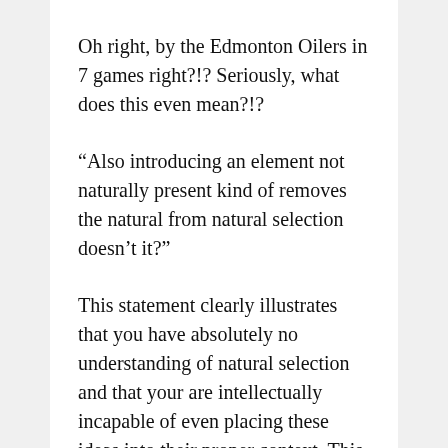Oh right, by the Edmonton Oilers in 7 games right?!? Seriously, what does this even mean?!?
“Also introducing an element not naturally present kind of removes the natural from natural selection doesn’t it?”
This statement clearly illustrates that you have absolutely no understanding of natural selection and that your are intellectually incapable of even placing these ideas into their proper context. This (peer-reviewed) research deals with biological forces which operate on a grand scale. Your repeated attempts to attack